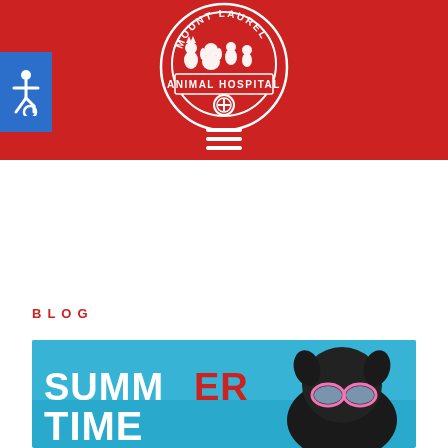[Figure (logo): Mount Laurel Animal Hospital circular logo with animal silhouettes on red background header]
[Figure (illustration): Wheelchair accessibility icon on blue square button]
[Figure (infographic): White hamburger/menu icon (three horizontal lines) on red background]
BLOG
[Figure (photo): Summer time blog post banner showing a dog wearing pink sunglasses against a blue sky background, with SUMMER TIME text in large white and red letters]